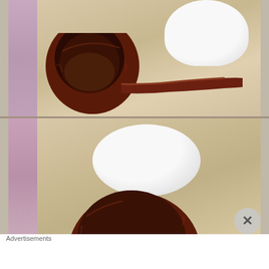[Figure (photo): Two product photos stacked vertically. Top photo: a dark reddish-brown wooden tobacco pipe with a round bowl sitting on a woven textile surface next to a white lidded jar/container. Bottom photo: close-up of the same white lidded container and the top of the tobacco pipe bowl on the same woven textile background.]
Advertisements
[Figure (photo): Victoria's Secret advertisement banner. Left: photo of a woman with curly hair. Center: Victoria's Secret logo (VS). Text: VICTORIA'S SECRET. Right side text: SHOP THE COLLECTION. Far right white box button: SHOP NOW.]